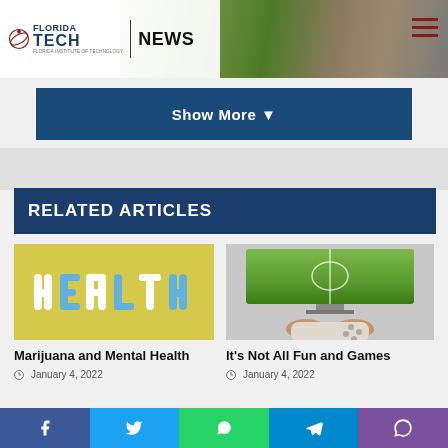[Figure (screenshot): Florida Tech News website header with logo and background photo of statue and greenery]
Show More ▾
RELATED ARTICLES
[Figure (photo): Yellow background with HEALTH spelled out in white and blue pills/tablets]
Marijuana and Mental Health
January 4, 2022
[Figure (photo): Person holding game controller in front of soccer game on TV screen]
It's Not All Fun and Games
January 4, 2022
Social share bar: Facebook, Twitter, WhatsApp, Telegram, Viber